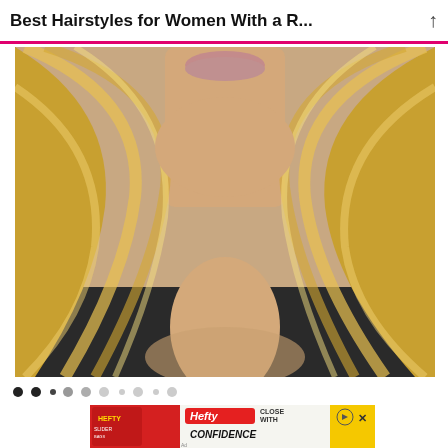Best Hairstyles for Women With a R...
[Figure (photo): Close-up photo of a woman with long wavy blonde highlighted hair, showing her neck and lower face with light pink lips, wearing a dark textured top]
[Figure (other): Hefty Slider Bags advertisement banner with Hefty logo and text CLOSE WITH CONFIDENCE on yellow and pink background]